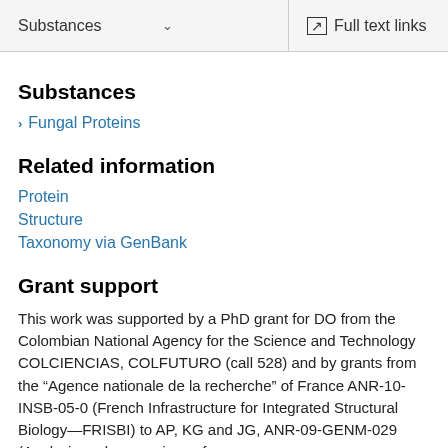Substances   ˅   Full text links
Substances
> Fungal Proteins
Related information
Protein
Structure
Taxonomy via GenBank
Grant support
This work was supported by a PhD grant for DO from the Colombian National Agency for the Science and Technology COLCIENCIAS, COLFUTURO (call 528) and by grants from the "Agence nationale de la recherche" of France ANR-10-INSB-05-0 (French Infrastructure for Integrated Structural Biology—FRISBI) to AP, KG and JG, ANR-09-GENM-029 (Analysis and comparison of